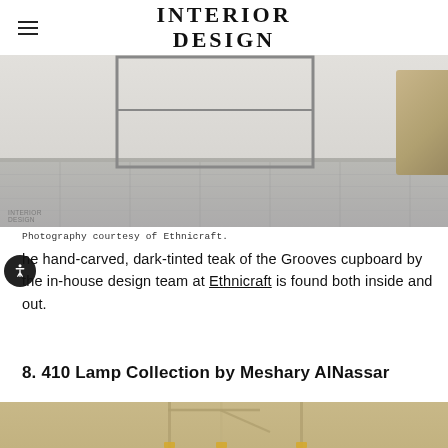INTERIOR DESIGN
[Figure (photo): Cropped photo of a hand-carved dark-tinted teak Grooves cupboard on grey tile floor, with a wicker stool visible on the right edge. White brick wall in background.]
Photography courtesy of Ethnicraft.
The hand-carved, dark-tinted teak of the Grooves cupboard by the in-house design team at Ethnicraft is found both inside and out.
8. 410 Lamp Collection by Meshary AlNassar
[Figure (photo): Bottom portion of a photo showing lamp designs from the 410 Lamp Collection by Meshary AlNassar against a tan/beige background.]